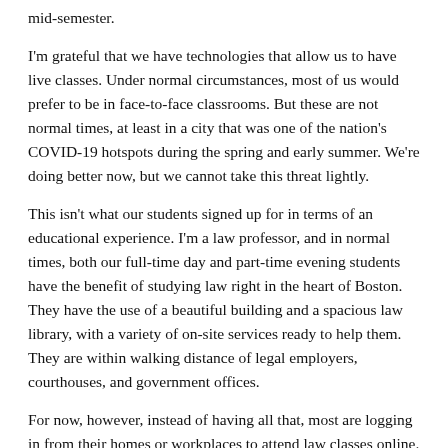mid-semester.
I'm grateful that we have technologies that allow us to have live classes. Under normal circumstances, most of us would prefer to be in face-to-face classrooms. But these are not normal times, at least in a city that was one of the nation's COVID-19 hotspots during the spring and early summer. We're doing better now, but we cannot take this threat lightly.
This isn't what our students signed up for in terms of an educational experience. I'm a law professor, and in normal times, both our full-time day and part-time evening students have the benefit of studying law right in the heart of Boston. They have the use of a beautiful building and a spacious law library, with a variety of on-site services ready to help them. They are within walking distance of legal employers, courthouses, and government offices.
For now, however, instead of having all that, most are logging in from their homes or workplaces to attend law classes online. The disruptions to their usual lives and to their degree programs have often been substantial.
Of course, I understand that the lives of educators, administrators, and